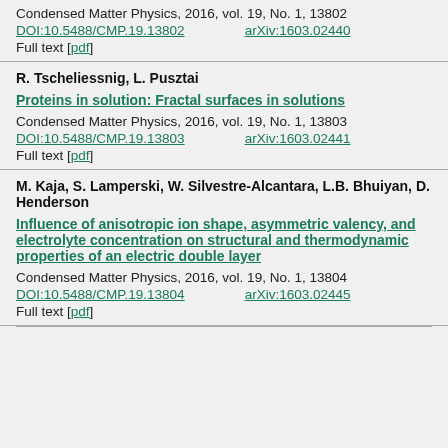Condensed Matter Physics, 2016, vol. 19, No. 1, 13802
DOI:10.5488/CMP.19.13802    arXiv:1603.02440
Full text [pdf]
R. Tscheliessnig, L. Pusztai
Proteins in solution: Fractal surfaces in solutions
Condensed Matter Physics, 2016, vol. 19, No. 1, 13803
DOI:10.5488/CMP.19.13803    arXiv:1603.02441
Full text [pdf]
M. Kaja, S. Lamperski, W. Silvestre-Alcantara, L.B. Bhuiyan, D. Henderson
Influence of anisotropic ion shape, asymmetric valency, and electrolyte concentration on structural and thermodynamic properties of an electric double layer
Condensed Matter Physics, 2016, vol. 19, No. 1, 13804
DOI:10.5488/CMP.19.13804    arXiv:1603.02445
Full text [pdf]